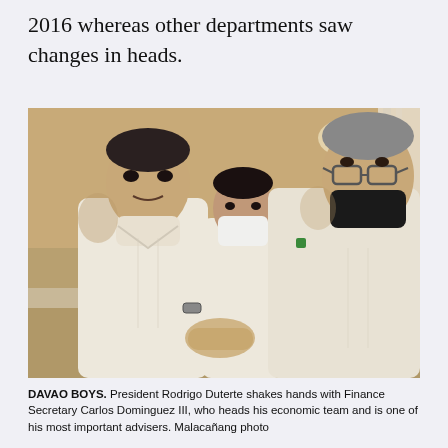2016 whereas other departments saw changes in heads.
[Figure (photo): President Rodrigo Duterte shaking hands with Finance Secretary Carlos Dominguez III, both wearing face masks. A man in a white barong stands between them in the background. The setting appears to be an ornate room with chandeliers and wooden paneling.]
DAVAO BOYS. President Rodrigo Duterte shakes hands with Finance Secretary Carlos Dominguez III, who heads his economic team and is one of his most important advisers. Malacañang photo